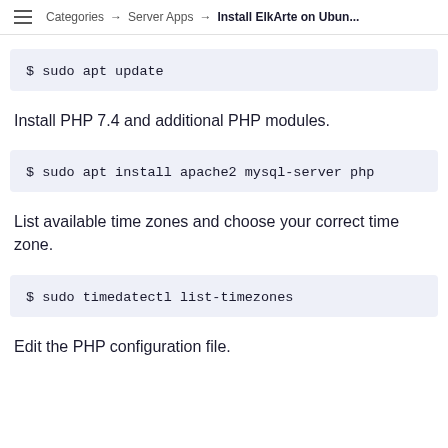Categories → Server Apps → Install ElkArte on Ubun...
$ sudo apt update
Install PHP 7.4 and additional PHP modules.
$ sudo apt install apache2 mysql-server php
List available time zones and choose your correct time zone.
$ sudo timedatectl list-timezones
Edit the PHP configuration file.